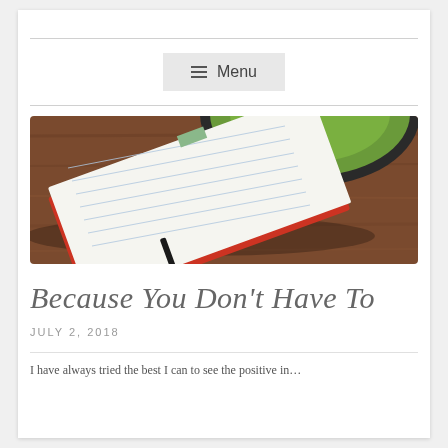☰ Menu
[Figure (photo): Overhead view of an open lined notebook with a red cover, a fountain pen resting on it, and a dark green ceramic bowl/cup in the upper portion, all on a wooden surface.]
Because You Don't Have To
JULY 2, 2018
I have always tried the best I can to see the positive in...